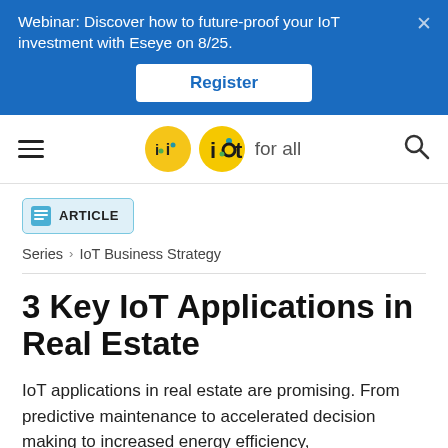Webinar: Discover how to future-proof your IoT investment with Eseye on 8/25.
Register
[Figure (logo): IoT For All logo — yellow circle with 'iot' text inside, followed by 'for all' text]
ARTICLE
Series > IoT Business Strategy
3 Key IoT Applications in Real Estate
IoT applications in real estate are promising. From predictive maintenance to accelerated decision making to increased energy efficiency,